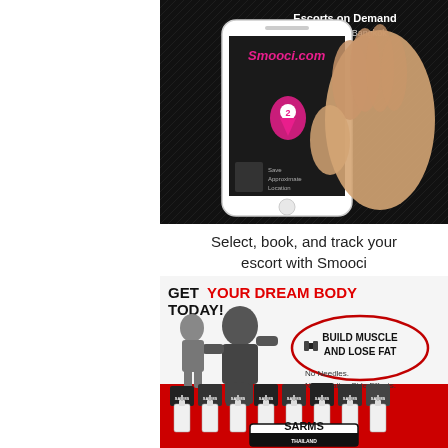[Figure (photo): Advertisement for Smooci escort app showing a hand holding a smartphone with the Smooci app interface. Text overlay reads 'Escorts on Demand Available in Bangkok'.]
Select, book, and track your escort with Smooci
[Figure (photo): Advertisement for SARMS Thailand supplement products. Text reads 'GET YOUR DREAM BODY TODAY!' with 'YOUR DREAM BODY' in red. Shows muscular man and woman with dumbbell and oval callout 'BUILD MUSCLE AND LOSE FAT'. Below: 'No Needles. No Negative Side Effects.' Bottom shows array of SARMS supplement bottles with SARMS logo.]